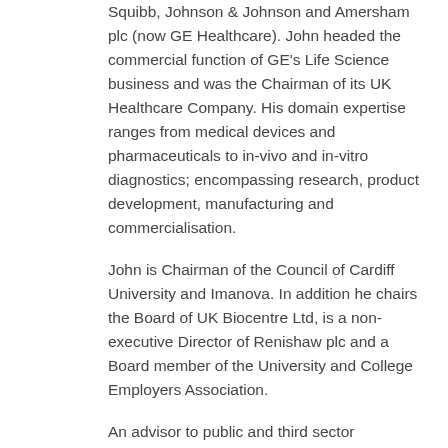Squibb, Johnson & Johnson and Amersham plc (now GE Healthcare). John headed the commercial function of GE's Life Science business and was the Chairman of its UK Healthcare Company. His domain expertise ranges from medical devices and pharmaceuticals to in-vivo and in-vitro diagnostics; encompassing research, product development, manufacturing and commercialisation.
John is Chairman of the Council of Cardiff University and Imanova. In addition he chairs the Board of UK Biocentre Ltd, is a non-executive Director of Renishaw plc and a Board member of the University and College Employers Association.
An advisor to public and third sector organisations, he was appointed by the Prime Minister in 2014 as the UK Government's Life Science Champion for medical technology. John leads Innovate UK's Stratified Medicine Advisory Board and the KTN's